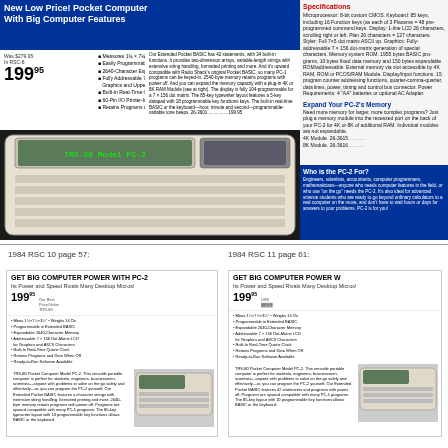New Low Price! Pocket Computer With Big Computer Features
Was $279.95 In RSC-8. 199.95
Measures 1¾ × 7¼ × 3¼" • Weighs 14 Oz.
Easily Programmable in Extended BASIC
2640-Character Expandable Internal Memory
Fully Addressable 7 × 156 Dot-Matrix LCD for Graphics and Upper/Lower Case Characters
Built-In Real-Time Quartz Clock
60-Pin I/O Printer-Interface Connector
Retains Programs and Data with Power Off
The TRS-80® PC-2 Pocket Computer is a versatile portable computer! It puts powerful computing features into the hands of engineers, businessmen, students, scientists—anyone with problems to solve on-the-go. Ready-to-run software loads from audio cassettes, or program it yourself.
Specifications
Microprocessor: 8-bit custom CMOS. Keyboard: 85 keys, including 16 Function keys (as each of 3 Modes = 48 pre-programmed command keys). Display: 1-line LCD 26 characters, scrolling right or left. Plan 26 characters = 127 characters. Styler: Full 7x5 dot matrix ASCII. Graphics: Fully-addressable 7 × 156 dot-matrix generation of special characters. Memory system ROM: 1955 bytes BASIC program and 10 bytes fixed data memory and 180 bytes expandable. External memory via slot accessible by 4K RAM, ROM or PCOS/RAM Module.
Expand Your PC-2's Memory
Need more memory for larger, more complex programs? Just plug a memory module into the recessed port on the back of your PC-2 for 4K or 8K of additional RAM. Individual modules are not expandable.
4K Module. 26-3615
8K Module. 26-3616
Who is the PC-2 For?
Engineers, scientists, accountants, computer programmers, mathematicians—anyone who needs computer features in the field, or who use "on the go" needs the PC-2. It's also ideal for advanced science students who are ready to go beyond ordinary calculators to a real computer on the move, and don't have to wait hours or days for answers to your problems. PC-2 is for you!
[Figure (photo): TRS-80 Model PC-2 pocket computer keyboard and display photo]
1984 RSC 10 page 57:
1984 RSC 11 page 61:
[Figure (photo): 1984 RSC 10 catalog ad for PC-2: GET BIG COMPUTER POWER WITH PC-2, price 199.95]
[Figure (photo): 1984 RSC 11 catalog ad for PC-2: GET BIG COMPUTER POWER WITH PC-2, price 199.95]